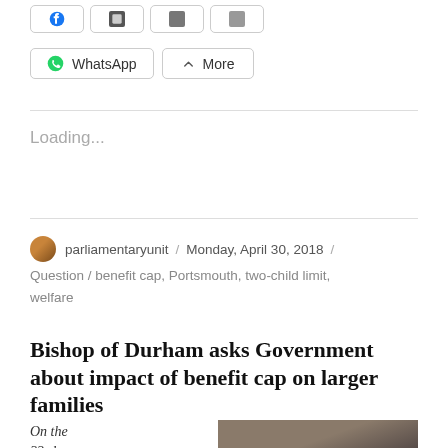[Figure (other): Social share buttons: WhatsApp and More, plus partially visible buttons in row above]
Loading...
parliamentaryunit / Monday, April 30, 2018 / Question / benefit cap, Portsmouth, two-child limit, welfare
Bishop of Durham asks Government about impact of benefit cap on larger families
On the 23rd